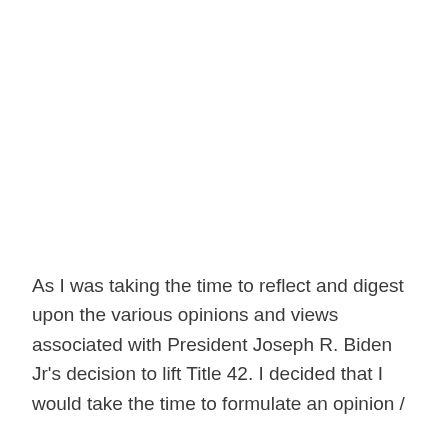As I was taking the time to reflect and digest upon the various opinions and views associated with President Joseph R. Biden Jr's decision to lift Title 42. I decided that I would take the time to formulate an opinion /